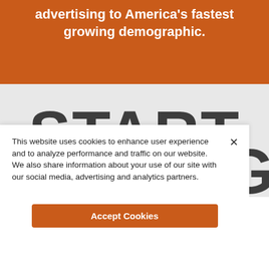advertising to America's fastest growing demographic.
START SELLING
This website uses cookies to enhance user experience and to analyze performance and traffic on our website. We also share information about your use of our site with our social media, advertising and analytics partners.
Accept Cookies